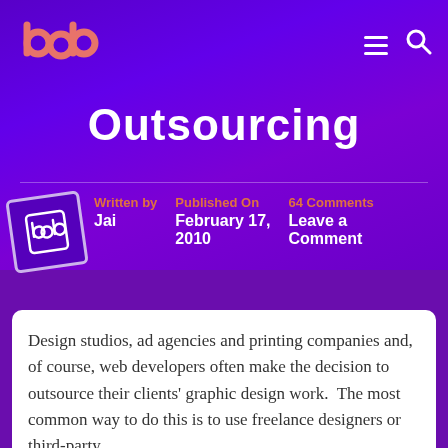bob
Outsourcing
Written by Jai | Published On February 17, 2010 | 64 Comments Leave a Comment
Design studios, ad agencies and printing companies and, of course, web developers often make the decision to outsource their clients' graphic design work.  The most common way to do this is to use freelance designers or third-party